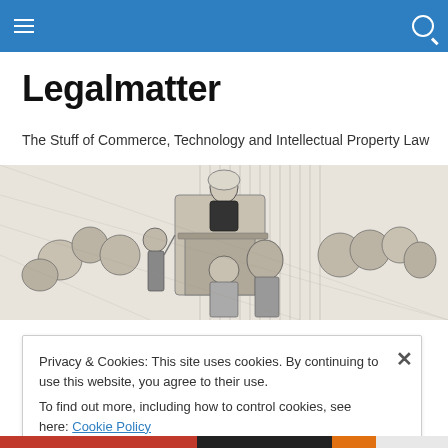Legalmatter — navigation bar with hamburger menu and search icon
Legalmatter
The Stuff of Commerce, Technology and Intellectual Property Law
[Figure (illustration): Black and white engraving of a Victorian courtroom scene with a judge presiding from a raised bench and a crowd of onlookers.]
Privacy & Cookies: This site uses cookies. By continuing to use this website, you agree to their use.
To find out more, including how to control cookies, see here: Cookie Policy
Close and accept